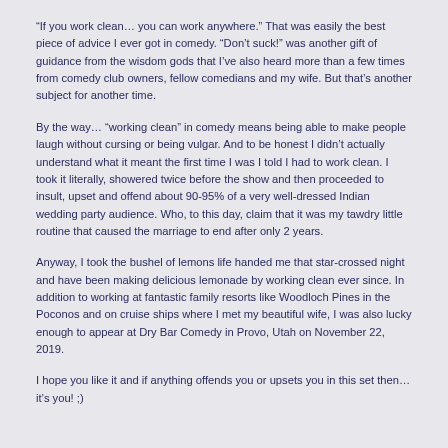“If you work clean… you can work anywhere.” That was easily the best piece of advice I ever got in comedy. “Don’t suck!” was another gift of guidance from the wisdom gods that I’ve also heard more than a few times from comedy club owners, fellow comedians and my wife. But that’s another subject for another time.
By the way… “working clean” in comedy means being able to make people laugh without cursing or being vulgar. And to be honest I didn’t actually understand what it meant the first time I was I told I had to work clean. I took it literally, showered twice before the show and then proceeded to insult, upset and offend about 90-95% of a very well-dressed Indian wedding party audience. Who, to this day, claim that it was my tawdry little routine that caused the marriage to end after only 2 years.
Anyway, I took the bushel of lemons life handed me that star-crossed night and have been making delicious lemonade by working clean ever since. In addition to working at fantastic family resorts like Woodloch Pines in the Poconos and on cruise ships where I met my beautiful wife, I was also lucky enough to appear at Dry Bar Comedy in Provo, Utah on November 22, 2019.
I hope you like it and if anything offends you or upsets you in this set then… it’s you! ;)